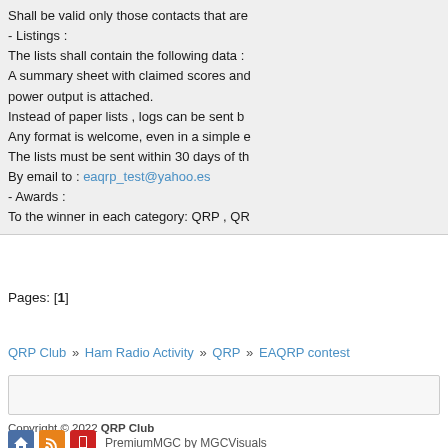Shall be valid only those contacts that are
- Listings :
The lists shall contain the following data :
A summary sheet with claimed scores and power output is attached.
Instead of paper lists , logs can be sent by
Any format is welcome, even in a simple e
The lists must be sent within 30 days of th
By email to : eaqrp_test@yahoo.es
- Awards :
To the winner in each category: QRP , QR
Pages: [1]
QRP Club » Ham Radio Activity » QRP » EAQRP contest
Copyright © 2022 QRP Club
PremiumMGC by MGCVisuals